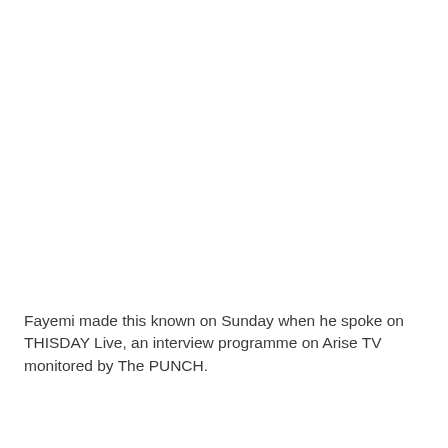Fayemi made this known on Sunday when he spoke on THISDAY Live, an interview programme on Arise TV monitored by The PUNCH.